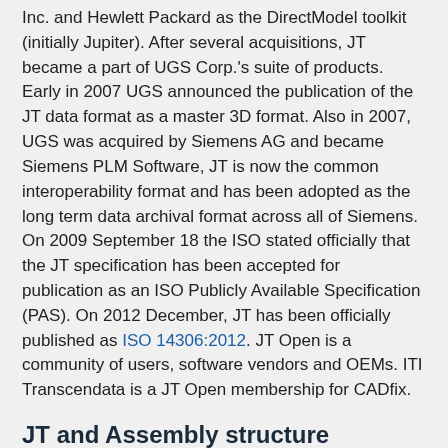Inc. and Hewlett Packard as the DirectModel toolkit (initially Jupiter). After several acquisitions, JT became a part of UGS Corp.'s suite of products. Early in 2007 UGS announced the publication of the JT data format as a master 3D format. Also in 2007, UGS was acquired by Siemens AG and became Siemens PLM Software, JT is now the common interoperability format and has been adopted as the long term data archival format across all of Siemens. On 2009 September 18 the ISO stated officially that the JT specification has been accepted for publication as an ISO Publicly Available Specification (PAS). On 2012 December, JT has been officially published as ISO 14306:2012. JT Open is a community of users, software vendors and OEMs. ITI Transcendata is a JT Open membership for CADfix.
JT and Assembly structure
Product structure may be represented in a variety of JT file configurations:
Monolithic: All product structure is stored in a single JT file.
Per part: All assembly nodes in a product structure hierarchy are stored in a single JT file, and each part node in the hierarchy is stored in an individual JT file in a